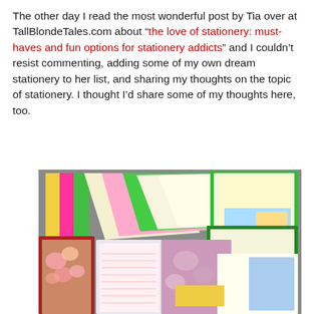The other day I read the most wonderful post by Tia over at TallBlondeTales.com about "the love of stationery: must-haves and fun options for stationery addicts" and I couldn't resist commenting, adding some of my own dream stationery to her list, and sharing my thoughts on the topic of stationery. I thought I'd share some of my thoughts here, too.
[Figure (photo): A collection of colorful stationery papers fanned out, including pink, yellow, green sheets with illustrated characters, plus a floral-covered notepad and lined writing paper in the foreground.]